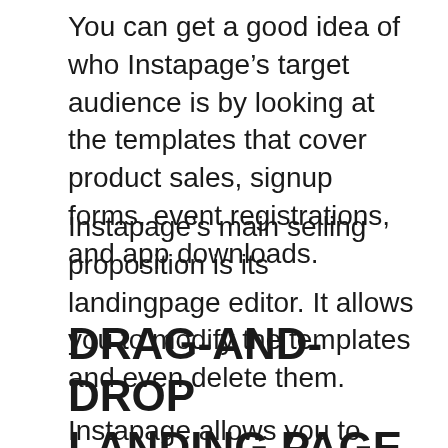You can get a good idea of who Instapage’s target audience is by looking at the templates that cover product sales, signup forms, event registrations, and app downloads.
Instapage’s main selling proposition is its landingpage editor. It allows you to modify the templates and even delete them.
DRAG-AND-DROP LANDING PAGE EDITOR
Instapage allows you to create a unique landingpage, whether you start with a